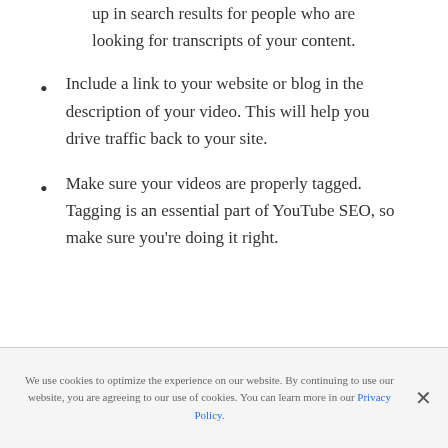up in search results for people who are looking for transcripts of your content.
Include a link to your website or blog in the description of your video. This will help you drive traffic back to your site.
Make sure your videos are properly tagged. Tagging is an essential part of YouTube SEO, so make sure you're doing it right.
We use cookies to optimize the experience on our website. By continuing to use our website, you are agreeing to our use of cookies. You can learn more in our Privacy Policy.